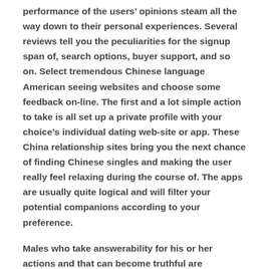performance of the users' opinions steam all the way down to their personal experiences. Several reviews tell you the peculiarities for the signup span of, search options, buyer support, and so on. Select tremendous Chinese language American seeing websites and choose some feedback on-line. The first and a lot simple action to take is all set up a private profile with your choice's individual dating web-site or app. These China relationship sites bring you the next chance of finding Chinese singles and making the user really feel relaxing during the course of. The apps are usually quite logical and will filter your potential companions according to your preference.
Males who take answerability for his or her actions and that can become truthful are incredibly admirable activities. All